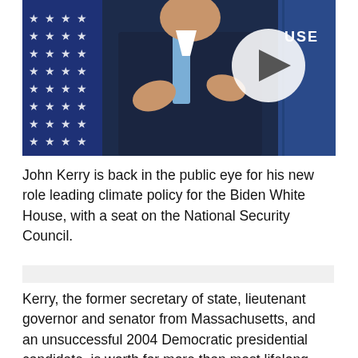[Figure (photo): John Kerry in a dark suit and blue tie gesturing at a podium, with an American flag visible to the left and a 'HOUSE' sign in the upper right background. A play button overlay circle is visible in the upper right of the image.]
John Kerry is back in the public eye for his new role leading climate policy for the Biden White House, with a seat on the National Security Council.
Kerry, the former secretary of state, lieutenant governor and senator from Massachusetts, and an unsuccessful 2004 Democratic presidential candidate, is worth far more than most lifelong politicians.